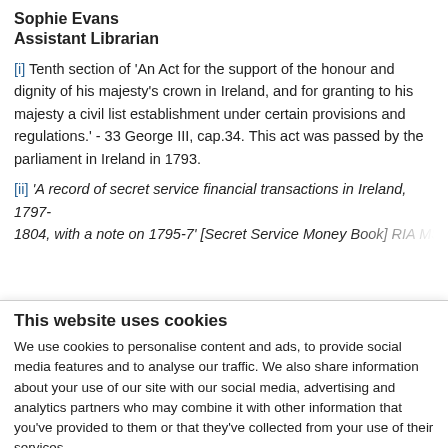Sophie Evans
Assistant Librarian
[i] Tenth section of 'An Act for the support of the honour and dignity of his majesty's crown in Ireland, and for granting to his majesty a civil list establishment under certain provisions and regulations.' - 33 George III, cap.34. This act was passed by the parliament in Ireland in 1793.
[ii] 'A record of secret service financial transactions in Ireland, 1797-1804, with a note on 1795-7' [Secret Service Money Book] RIA MS…
This website uses cookies
We use cookies to personalise content and ads, to provide social media features and to analyse our traffic. We also share information about your use of our site with our social media, advertising and analytics partners who may combine it with other information that you've provided to them or that they've collected from your use of their services.
Deny | Allow selection | Allow all
Necessary | Preferences | Statistics | Marketing | Show details